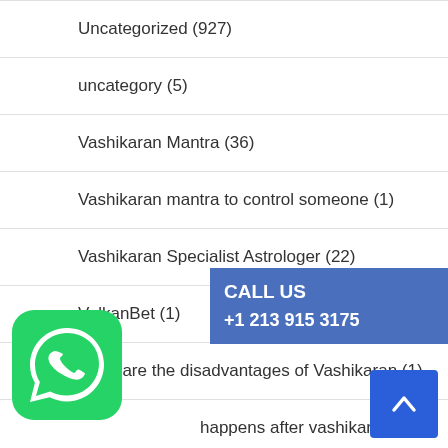Uncategorized (927)
uncategory (5)
Vashikaran Mantra (36)
Vashikaran mantra to control someone (1)
Vashikaran Specialist Astrologer (22)
VulkanBet (1)
What are the disadvantages of Vashikaran (1)
happens after vashikaran (1)
[Figure (infographic): Blue call-to-action banner showing CALL US +1 213 915 3175]
[Figure (logo): WhatsApp green icon button]
[Figure (other): Back to top blue button with upward arrow]